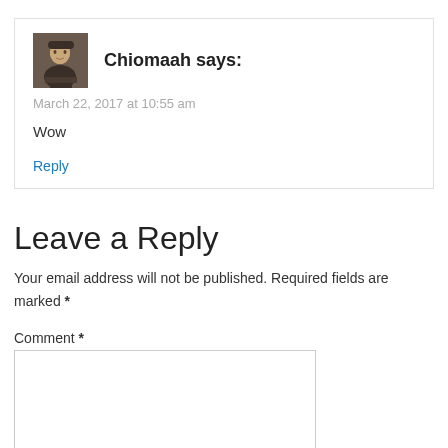[Figure (photo): Avatar portrait image of a person]
Chiomaah says:
March 22, 2017 at 10:55 am
Wow
Reply
Leave a Reply
Your email address will not be published. Required fields are marked *
Comment *